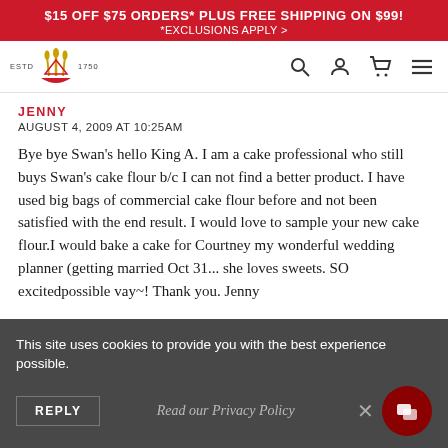$15 OFF $75 ORDERS* PLUS FREE SHIPPING ON $99! *EXCLUSIONS APPLY
[Figure (logo): King Arthur Baking Company logo with crown icon, ESTD 1750]
JENNY
AUGUST 4, 2009 AT 10:25AM
Bye bye Swan's hello King A. I am a cake professional who still buys Swan's cake flour b/c I can not find a better product. I have used big bags of commercial cake flour before and not been satisfied with the end result. I would love to sample your new cake flour.I would bake a cake for Courtney my wonderful wedding planner (getting married Oct 31... she loves sweets. SO excited possible vay~! Thank you. Jenny
This site uses cookies to provide you with the best experience possible.
Read our Privacy Policy
REPLY